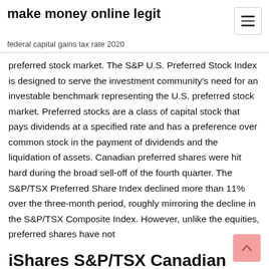make money online legit
federal capital gains tax rate 2020
preferred stock market. The S&P U.S. Preferred Stock Index is designed to serve the investment community's need for an investable benchmark representing the U.S. preferred stock market. Preferred stocks are a class of capital stock that pays dividends at a specified rate and has a preference over common stock in the payment of dividends and the liquidation of assets. Canadian preferred shares were hit hard during the broad sell-off of the fourth quarter. The S&P/TSX Preferred Share Index declined more than 11% over the three-month period, roughly mirroring the decline in the S&P/TSX Composite Index. However, unlike the equities, preferred shares have not
iShares S&P/TSX Canadian Preferred Share Index ETF is an exchange traded fund that dishes hi…